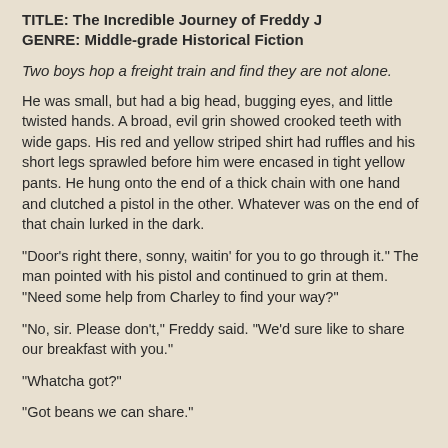TITLE: The Incredible Journey of Freddy J
GENRE: Middle-grade Historical Fiction
Two boys hop a freight train and find they are not alone.
He was small, but had a big head, bugging eyes, and little twisted hands. A broad, evil grin showed crooked teeth with wide gaps. His red and yellow striped shirt had ruffles and his short legs sprawled before him were encased in tight yellow pants. He hung onto the end of a thick chain with one hand and clutched a pistol in the other. Whatever was on the end of that chain lurked in the dark.
"Door's right there, sonny, waitin' for you to go through it." The man pointed with his pistol and continued to grin at them. "Need some help from Charley to find your way?"
"No, sir. Please don't," Freddy said. "We'd sure like to share our breakfast with you."
"Whatcha got?"
"Got beans we can share."